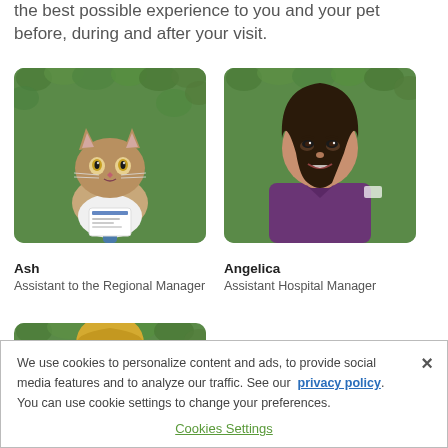the best possible experience to you and your pet before, during and after your visit.
[Figure (photo): Photo of a tabby cat wearing a white shirt and blue striped tie, sitting in front of a green leafy background]
[Figure (photo): Photo of a woman named Angelica with long dark hair, wearing a purple VCA uniform, standing in front of a green leafy background]
Ash
Assistant to the Regional Manager
Angelica
Assistant Hospital Manager
[Figure (photo): Partial photo of a blonde woman in front of a green leafy background]
We use cookies to personalize content and ads, to provide social media features and to analyze our traffic. See our privacy policy. You can use cookie settings to change your preferences.
Cookies Settings